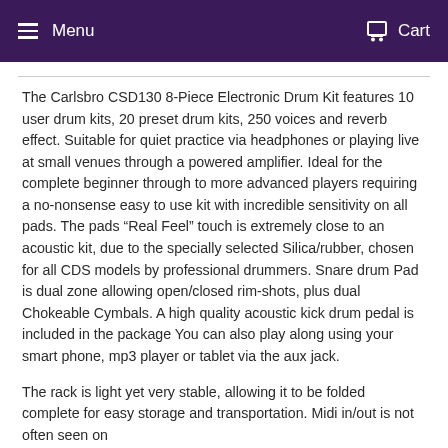Menu  Cart
The Carlsbro CSD130 8-Piece Electronic Drum Kit features 10 user drum kits, 20 preset drum kits, 250 voices and reverb effect. Suitable for quiet practice via headphones or playing live at small venues through a powered amplifier. Ideal for the complete beginner through to more advanced players requiring a no-nonsense easy to use kit with incredible sensitivity on all pads. The pads “Real Feel” touch is extremely close to an acoustic kit, due to the specially selected Silica/rubber, chosen for all CDS models by professional drummers. Snare drum Pad is dual zone allowing open/closed rim-shots, plus dual Chokeable Cymbals. A high quality acoustic kick drum pedal is included in the package You can also play along using your smart phone, mp3 player or tablet via the aux jack.
The rack is light yet very stable, allowing it to be folded complete for easy storage and transportation. Midi in/out is not often seen on